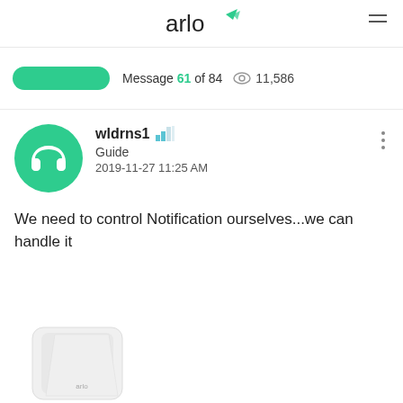arlo
Message 61 of 84  👁 11,586
wldrns1
Guide
2019-11-27 11:25 AM
We need to control Notification ourselves...we can handle it
[Figure (photo): Partial view of a white Arlo device at the bottom of the page]